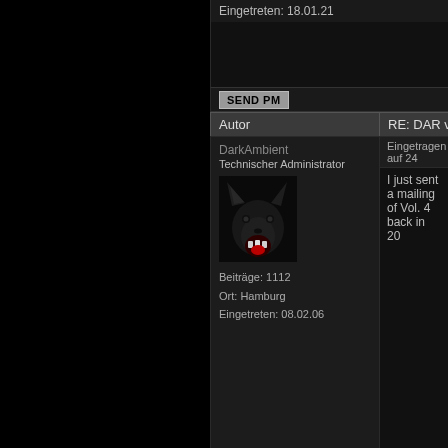Eingetreten: 18.01.21
SEND PM
Autor
RE: DAR vol 4 (bar
DarkAmbient
Technischer Administrator
Beiträge: 1112
Ort: Hamburg
Eingetreten: 08.02.06
Eingetragen auf 24
I just sent a mailing of Vol. 4 back in 20
SEND PM
Autor
RE: DAR vol 4 (bar
Cyborg Project
Mitglied
Beiträge: 7
Eingetreten: 24.03.14
Eingetragen auf 24
I am interested..
SEND PM